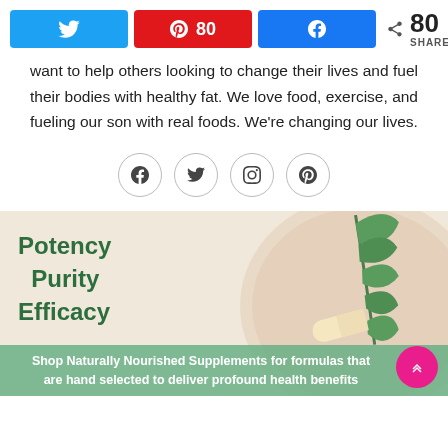[Figure (infographic): Social share buttons: Twitter button (blue), Pinterest button (red) with count 80, Facebook button (blue), and share count showing 80 SHARES]
want to help others looking to change their lives and fuel their bodies with healthy fat. We love food, exercise, and fueling our son with real foods. We're changing our lives.
[Figure (infographic): Row of four circular social media icon buttons: Facebook, Twitter, Instagram, Pinterest]
[Figure (infographic): Advertisement banner for Naturally Nourished Supplements showing green leaves on a plate, a capsule, and text: Potency, Purity, Efficacy. Bottom bar reads: Shop Naturally Nourished Supplements for formulas that are hand selected to deliver profound health benefits]